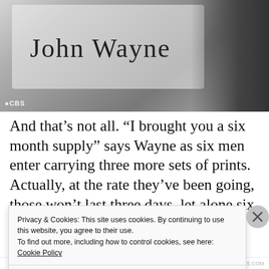[Figure (photo): Black and white photo of a person holding a sign with 'John Wayne' written in cursive handwriting, with a CBS watermark in the bottom left corner.]
And that's not all. “I brought you a six month supply” says Wayne as six men enter carrying three more sets of prints. Actually, at the rate they’ve been going, those won’t last three days, let alone six months. Also, shouldn’t t...
Privacy & Cookies: This site uses cookies. By continuing to use this website, you agree to their use.
To find out more, including how to control cookies, see here:
Cookie Policy
Close and accept